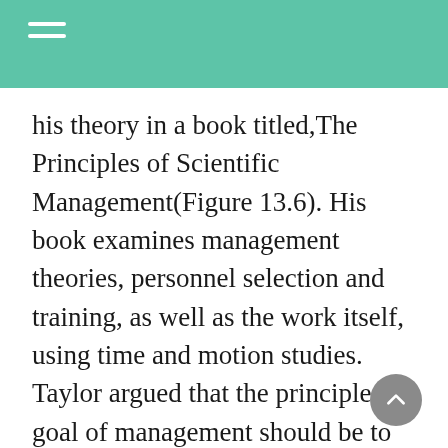his theory in a book titled,The Principles of Scientific Management(Figure 13.6). His book examines management theories, personnel selection and training, as well as the work itself, using time and motion studies. Taylor argued that the principle goal of management should be to make the most money for the employer, along with the best outcome for the employee. He believed that the best outcome for the employee and management would be achieved through training and development so that each employee could provide the best work.